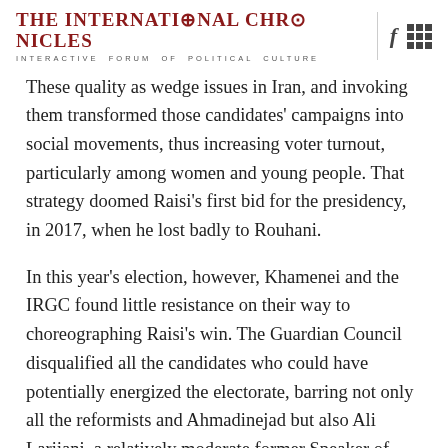THE INTERNATIONAL CHRONICLES — INTERACTIVE FORUM OF POLITICAL CULTURE
These quality as wedge issues in Iran, and invoking them transformed those candidates' campaigns into social movements, thus increasing voter turnout, particularly among women and young people. That strategy doomed Raisi's first bid for the presidency, in 2017, when he lost badly to Rouhani.
In this year's election, however, Khamenei and the IRGC found little resistance on their way to choreographing Raisi's win. The Guardian Council disqualified all the candidates who could have potentially energized the electorate, barring not only all the reformists and Ahmadinejad but also Ali Larijani, a relatively moderate former Speaker of